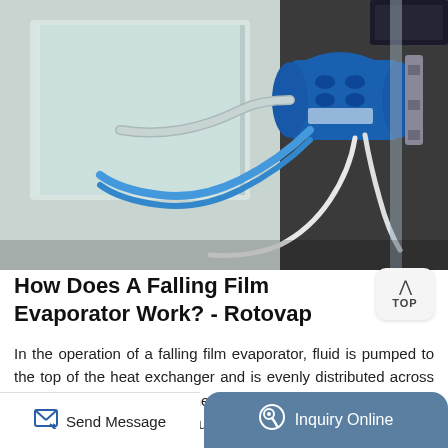[Figure (photo): Close-up photograph of a falling film evaporator showing stainless steel heat exchanger tubes, a large blue motor/pump unit, white hose connections, and metal pipework components.]
How Does A Falling Film Evaporator Work? - Rotovap
In the operation of a falling film evaporator, fluid is pumped to the top of the heat exchanger and is evenly distributed across the tubesheet and into the heat transfer area. Proper wetting of the heat transfer area is required to maintain the dynamics
Send Message   Inquiry Online